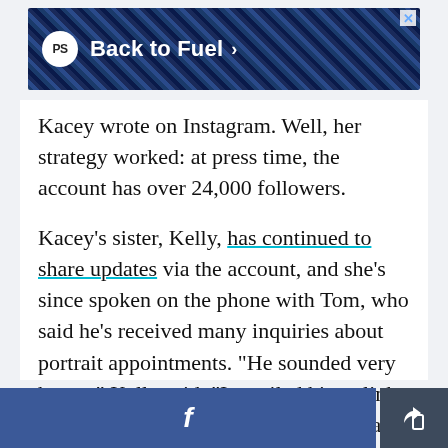[Figure (screenshot): Advertisement banner with plaid blue pattern background, PS logo in white circle, text 'Back to Fuel' in white bold font, arrow and X close button]
Kacey wrote on Instagram. Well, her strategy worked: at press time, the account has over 24,000 followers.
Kacey's sister, Kelly, has continued to share updates via the account, and she's since spoken on the phone with Tom, who said he's received many inquiries about portrait appointments. "He sounded very happy," Kelly said. "I emailed him a link to the Instagram which hopefully he can open and see how many fans he has!"
[Figure (screenshot): Footer bar with Facebook share button on the left (blue) and a share/export icon button on the right (dark grey)]